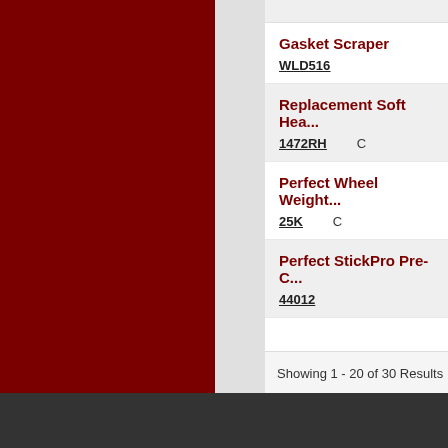Gasket Scraper
WLD516
Replacement Soft Hea...
1472RH
Perfect Wheel Weight...
25K
Perfect StickPro Pre-C...
44012
Showing 1 - 20 of 30 Results